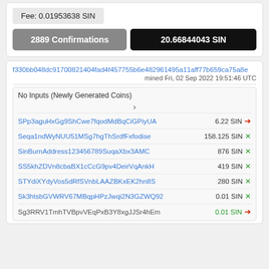Fee: 0.01953638 SIN
2889 Confirmations
20.66844043 SIN
f330bb048dc91700821404fad4f457755b6e482961495a11aff77b659ca75a8e
mined Fri, 02 Sep 2022 19:51:46 UTC
No Inputs (Newly Generated Coins)
SPp3aguHxGg9ShCwe7fqodMdBqCiGPiyUA   6.22 SIN →
Seqa1ndWyNUU51MSg7hgThSrdfFxfodise   158.125 SIN ×
SinBurnAddress123456789SuqaXbx3AMC   876 SIN ×
SS5khZDVn8cbaBX1cCcG9pv4DeirVqAnkH   419 SIN ×
STYdiXYdyVos5dRfSVnbLAAZBKxEK2hn8S   280 SIN ×
Sk3htsbGVWRV67MBqpHPzJwqi2N3GZWQ92   0.01 SIN ×
Sg3RRV1TmhTVBpvVEqPxB3Y8xgJJSr4hEm   0.01 SIN →